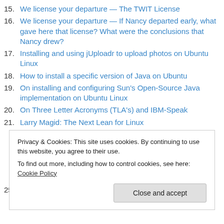15. We license your departure — The TWIT License
16. We license your departure — If Nancy departed early, what gave here that license? What were the conclusions that Nancy drew?
17. Installing and using jUploadr to upload photos on Ubuntu Linux
18. How to install a specific version of Java on Ubuntu
19. On installing and configuring Sun's Open-Source Java implementation on Ubuntu Linux
20. On Three Letter Acronyms (TLA's) and IBM-Speak
21. Larry Magid: The Next Lean for Linux
25. Using the del.icio.us tag for.shame
Privacy & Cookies: This site uses cookies. By continuing to use this website, you agree to their use.
To find out more, including how to control cookies, see here: Cookie Policy
Close and accept